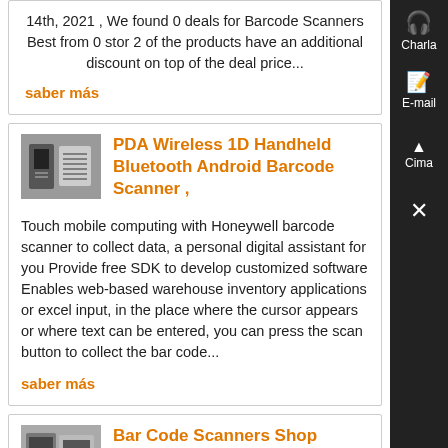14th, 2021 , We found 0 deals for Barcode Scanners Best from 0 stor 2 of the products have an additional discount on top of the deal price...
saber más
PDA Wireless 1D Handheld Bluetooth Android Barcode Scanner ,
[Figure (photo): Product image of a barcode scanner device]
Touch mobile computing with Honeywell barcode scanner to collect data, a personal digital assistant for you Provide free SDK to develop customized software Enables web-based warehouse inventory applications or excel input, in the place where the cursor appears or where text can be entered, you can press the scan button to collect the bar code...
saber más
Bar Code Scanners Shop Amazon
[Figure (photo): Product image of barcode scanners]
NADAMOO Wireless Barcode Scanner